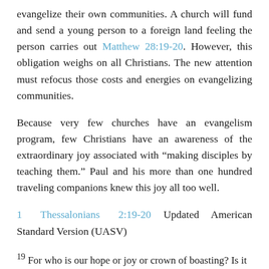evangelize their own communities. A church will fund and send a young person to a foreign land feeling the person carries out Matthew 28:19-20. However, this obligation weighs on all Christians. The new attention must refocus those costs and energies on evangelizing communities.
Because very few churches have an evangelism program, few Christians have an awareness of the extraordinary joy associated with “making disciples by teaching them.” Paul and his more than one hundred traveling companions knew this joy all too well.
1 Thessalonians 2:19-20 Updated American Standard Version (UASV)
19 For who is our hope or joy or crown of boasting? Is it not even you, in the presence of our Lord Jesus